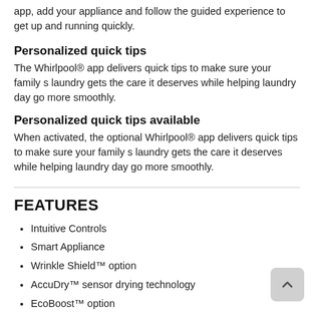app, add your appliance and follow the guided experience to get up and running quickly.
Personalized quick tips
The Whirlpool® app delivers quick tips to make sure your family s laundry gets the care it deserves while helping laundry day go more smoothly.
Personalized quick tips available
When activated, the optional Whirlpool® app delivers quick tips to make sure your family s laundry gets the care it deserves while helping laundry day go more smoothly.
FEATURES
Intuitive Controls
Smart Appliance
Wrinkle Shield™ option
AccuDry™ sensor drying technology
EcoBoost™ option